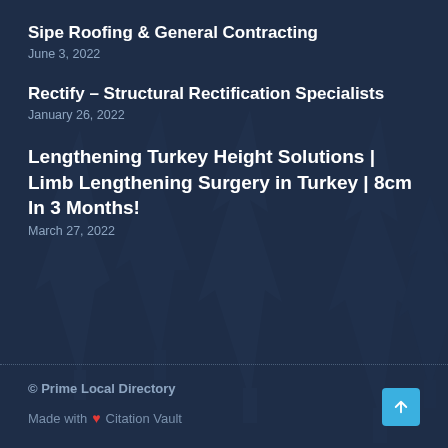Sipe Roofing & General Contracting
June 3, 2022
Rectify – Structural Rectification Specialists
January 26, 2022
Lengthening Turkey Height Solutions | Limb Lengthening Surgery in Turkey | 8cm In 3 Months!
March 27, 2022
© Prime Local Directory
Made with ❤ Citation Vault